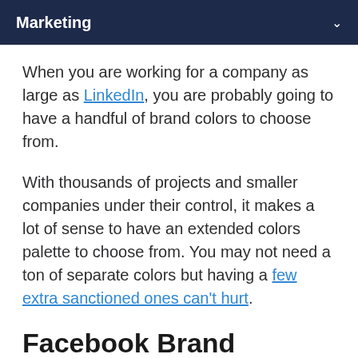Marketing
When you are working for a company as large as LinkedIn, you are probably going to have a handful of brand colors to choose from.
With thousands of projects and smaller companies under their control, it makes a lot of sense to have an extended colors palette to choose from. You may not need a ton of separate colors but having a few extra sanctioned ones can't hurt.
Facebook Brand Guidelines